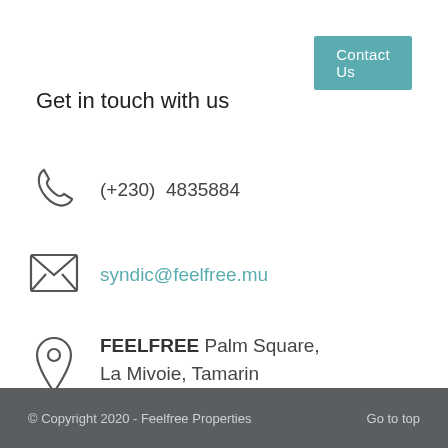Contact Us
Get in touch with us
(+230)  4835884
syndic@feelfree.mu
FEELFREE
Palm Square,
La Mivoie, Tamarin
© Copyright 2020 - Feelfree Properties    Go to top